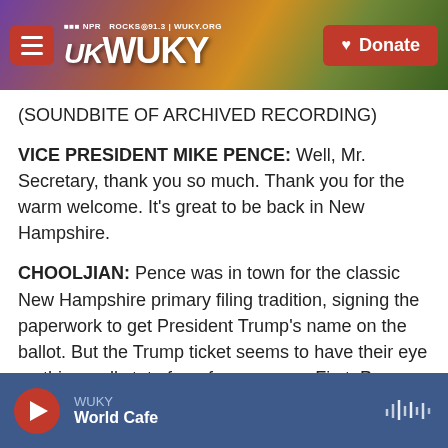WUKY NPR ROCKS 91.3 | WUKY.ORG — Donate
(SOUNDBITE OF ARCHIVED RECORDING)
VICE PRESIDENT MIKE PENCE: Well, Mr. Secretary, thank you so much. Thank you for the warm welcome. It's great to be back in New Hampshire.
CHOOLJIAN: Pence was in town for the classic New Hampshire primary filing tradition, signing the paperwork to get President Trump's name on the ballot. But the Trump ticket seems to have their eye on this small state for a few reasons. First, Pence says their movement started here, a movement that he says...
WUKY — World Cafe